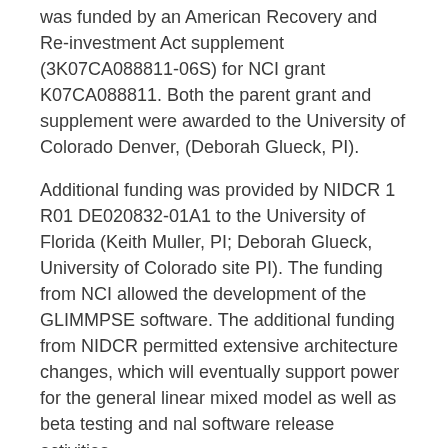was funded by an American Recovery and Re-investment Act supplement (3K07CA088811-06S) for NCI grant K07CA088811. Both the parent grant and supplement were awarded to the University of Colorado Denver, (Deborah Glueck, PI).
Additional funding was provided by NIDCR 1 R01 DE020832-01A1 to the University of Florida (Keith Muller, PI; Deborah Glueck, University of Colorado site PI). The funding from NCI allowed the development of the GLIMMPSE software. The additional funding from NIDCR permitted extensive architecture changes, which will eventually support power for the general linear mixed model as well as beta testing and nal software release activities.
Additional support for Dr. Muller was provided in part by NIHNIDCR grants U54-DE019261, NIHNCRR grant K30-RR022258, NIHNHLBI grant R01-HL091005 and NIHNIAAA grant R01-AA013458-01.